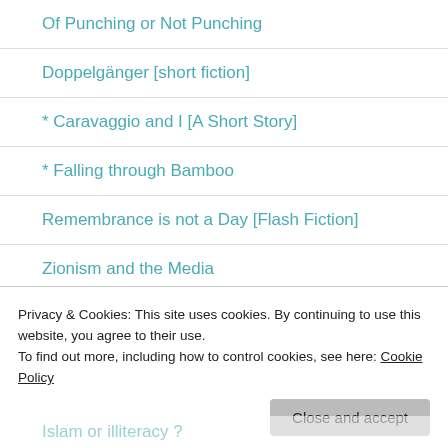Of Punching or Not Punching
Doppelgänger [short fiction]
* Caravaggio and I [A Short Story]
* Falling through Bamboo
Remembrance is not a Day [Flash Fiction]
Zionism and the Media
Cry, Crying, Cried (partial)
Privacy & Cookies: This site uses cookies. By continuing to use this website, you agree to their use.
To find out more, including how to control cookies, see here: Cookie Policy
Islam or Illiteracy ? (partial)